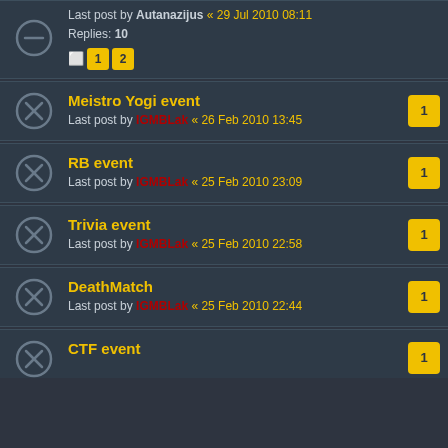Last post by Autanazijus « 29 Jul 2010 08:11 | Replies: 10 | pages: 1 2
Meistro Yogi event | Last post by IGMBLak « 26 Feb 2010 13:45
RB event | Last post by IGMBLak « 25 Feb 2010 23:09
Trivia event | Last post by IGMBLak « 25 Feb 2010 22:58
DeathMatch | Last post by IGMBLak « 25 Feb 2010 22:44
CTF event